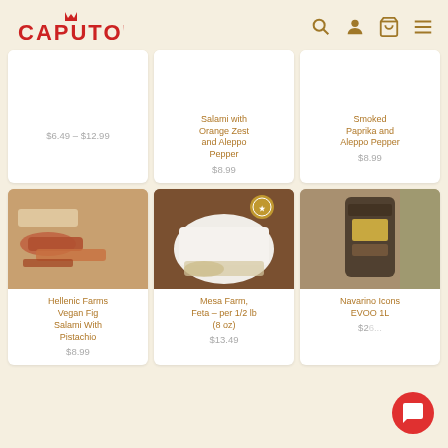CAPUTO'S
[Figure (screenshot): E-commerce product listing page for Caputo's specialty food store showing 6 product cards in a 3-column grid]
Salami with Orange Zest and Aleppo Pepper
$8.99
Smoked Paprika and Aleppo Pepper
$8.99
$6.49 – $12.99
Hellenic Farms Vegan Fig Salami With Pistachio
$8.99
Mesa Farm, Feta – per 1/2 lb (8 oz)
$13.49
Navarino Icons EVOO 1L
$2...